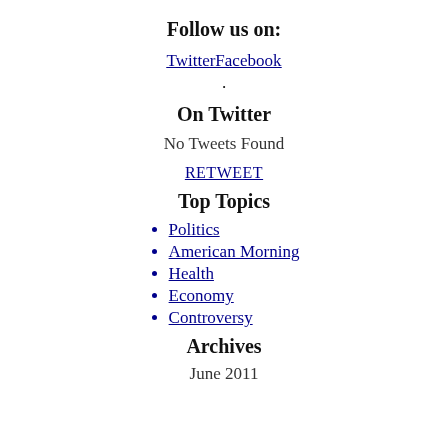Follow us on:
TwitterFacebook
.
On Twitter
No Tweets Found
RETWEET
Top Topics
Politics
American Morning
Health
Economy
Controversy
Archives
June 2011